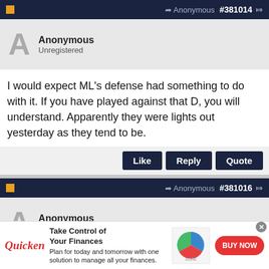Anonymous #381014
Anonymous
Unregistered
I would expect ML's defense had something to do with it. If you have played against that D, you will understand. Apparently they were lights out yesterday as they tend to be.
Anonymous #381016
Anonymous
Unregistered
Seen a lot of lacrosse in my day. Expect this ML/HAWKS 2029 rivalry is one of the top rivalries of this class nationally. The matchups never
[Figure (infographic): Quicken advertisement: Take Control of Your Finances. Plan for today and tomorrow with one solution to manage all your finances. BUY NOW button.]